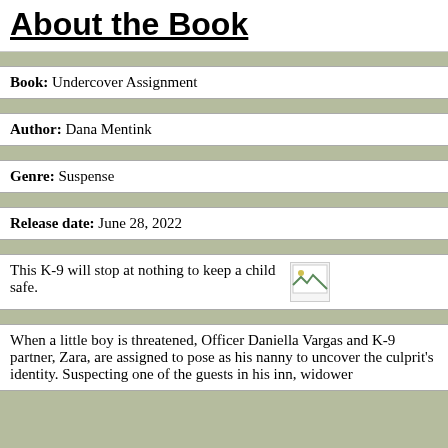About the Book
Book: Undercover Assignment
Author: Dana Mentink
Genre: Suspense
Release date: June 28, 2022
This K-9 will stop at nothing to keep a child safe.
[Figure (photo): Broken/missing image placeholder]
When a little boy is threatened, Officer Daniella Vargas and K-9 partner, Zara, are assigned to pose as his nanny to uncover the culprit’s identity. Suspecting one of the guests in his inn, widower